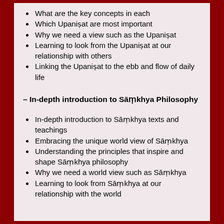What are the key concepts in each
Which Upaniṣat are most important
Why we need a view such as the Upaniṣat
Learning to look from the Upaniṣat at our relationship with others
Linking the Upaniṣat to the ebb and flow of daily life
– In-depth introduction to Sāṃkhya Philosophy
In-depth introduction to Sāṃkhya texts and teachings
Embracing the unique world view of Sāṃkhya
Understanding the principles that inspire and shape Sāṃkhya philosophy
Why we need a world view such as Sāṃkhya
Learning to look from Sāṃkhya at our relationship with the world